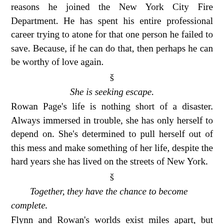reasons he joined the New York City Fire Department. He has spent his entire professional career trying to atone for that one person he failed to save. Because, if he can do that, then perhaps he can be worthy of love again.
š
She is seeking escape.
Rowan Page's life is nothing short of a disaster. Always immersed in trouble, she has only herself to depend on. She's determined to pull herself out of this mess and make something of her life, despite the hard years she has lived on the streets of New York.
š
Together, they have the chance to become complete.
Flynn and Rowan's worlds exist miles apart, but when a chance meeting brings them together, neither of them can deny the instant pull that connects them to each other. What starts as a tiny spark eventually flares into a fire so hot, it refuses to be extinguished.
š
Both are willing to jump feet first into the flames to see